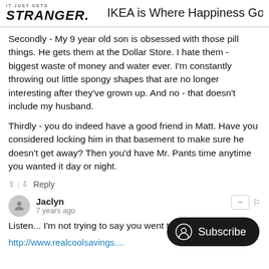IT JUST GETS STRANGER. | IKEA is Where Happiness Goes to D
Secondly - My 9 year old son is obsessed with those pill things. He gets them at the Dollar Store. I hate them - biggest waste of money and water ever. I'm constantly throwing out little spongy shapes that are no longer interesting after they've grown up. And no - that doesn't include my husband.
Thirdly - you do indeed have a good friend in Matt. Have you considered locking him in that basement to make sure he doesn't get away? Then you'd have Mr. Pants time anytime you wanted it day or night.
^ | v  Reply
Jaclyn
7 years ago
Listen... I'm not trying to say you went t but...
http://www.realcoolsavings....